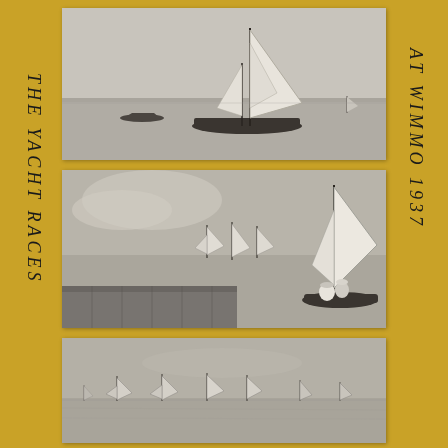THE YACHT RACES AT WIMMO 1937
[Figure (photo): Black and white photograph of a large sailboat with tall sails on open water, with a smaller motorboat in the background]
[Figure (photo): Black and white photograph of several sailboats racing on open water, viewed from a dock or pier, with a large sailboat on the right]
[Figure (photo): Black and white photograph of multiple small sailboats racing on open water, seen from a distance]